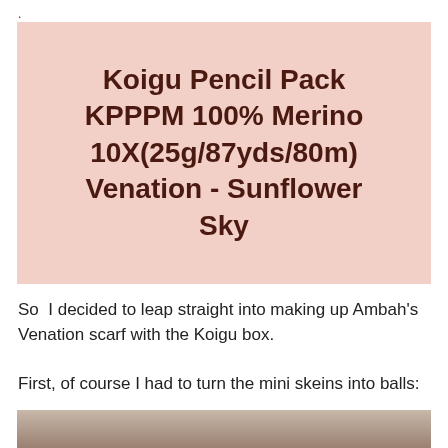.
[Figure (photo): Pink label showing text: Koigu Pencil Pack KPPPM 100% Merino 10X(25g/87yds/80m) Venation - Sunflower Sky]
So  I decided to leap straight into making up Ambah's Venation scarf with the Koigu box.
First, of course I had to turn the mini skeins into balls:
[Figure (photo): Bottom portion of a photo showing chairs around a table with yarn balls and items on the table surface.]